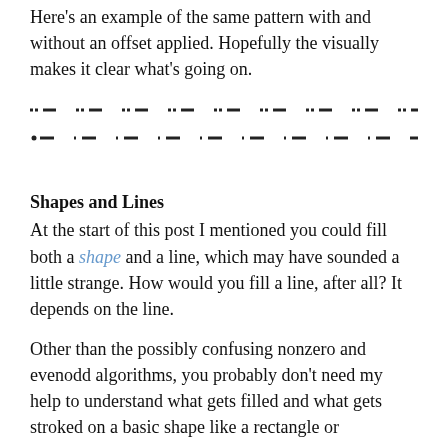Here's an example of the same pattern with and without an offset applied. Hopefully the visually makes it clear what's going on.
[Figure (illustration): Two rows of dashed/dotted line patterns showing offset variations, rendered in a monospace/dot-dash style.]
Shapes and Lines
At the start of this post I mentioned you could fill both a shape and a line, which may have sounded a little strange. How would you fill a line, after all? It depends on the line.
Other than the possibly confusing nonzero and evenodd algorithms, you probably don't need my help to understand what gets filled and what gets stroked on a basic shape like a rectangle or